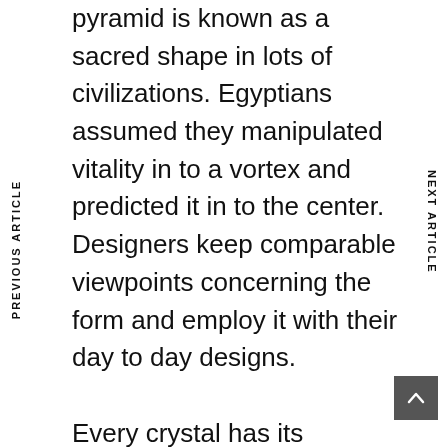pyramid is known as a sacred shape in lots of civilizations. Egyptians assumed they manipulated vitality in to a vortex and predicted it in to the center. Designers keep comparable viewpoints concerning the form and employ it with their day to day designs.
Every crystal has its residence for example
Very clear Quartz – Stores, controls and produces energy.
Rose Quartz – Will help repair believe in hand equilibrium.
Obsidian – Sheild from extreme
PREVIOUS ARTICLE
NEXT ARTICLE